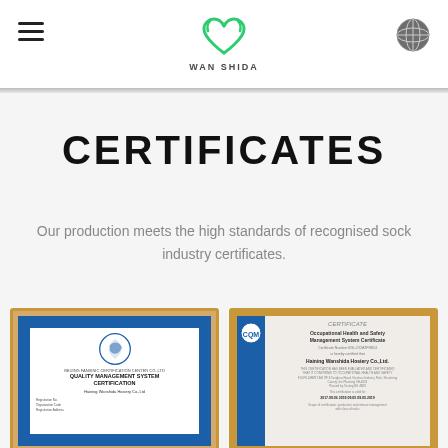WAN SHIDA
CERTIFICATES
Our production meets the high standards of recognised sock industry certificates.
[Figure (photo): Framed Quality Management System Certification certificate from BEIJING FANSINIC CERTIFICATION CENTER CO.,LTD for Haining Wanshida Hosiery Co.,Ltd with blue border and logo]
[Figure (photo): Framed Occupational Health and Safety Management System Certificate (CQM) for Haining Wanshida Hosiery Co.,Ltd with blue sidebar and CQM logo]